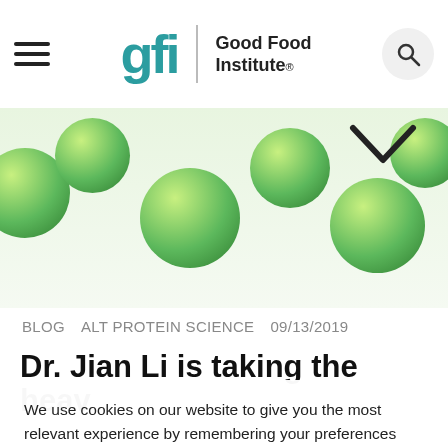Good Food Institute
[Figure (photo): Photo of green peas scattered on a white background, partially visible with a chevron/down-arrow icon overlaid]
BLOG   ALT PROTEIN SCIENCE   09/13/2019
Dr. Jian Li is taking the heav
We use cookies on our website to give you the most relevant experience by remembering your preferences and repeat visits. By clicking “Accept”, you consent to the use of ALL the cookies.
Privacy notice
COOKIE SETTINGS
REJECT
ACCEPT